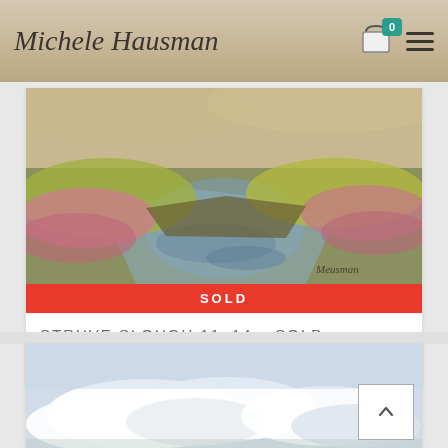Michele Hausman
[Figure (photo): Painting of Struve Slough — a marsh landscape with pink and green foliage, water reflections, and artist's signature 'Meusman' in lower right.]
SOLD
STRUVE SLOUGH 11×14 – SOLD
$600.00 – $700.00
[Figure (photo): Partial view of a second painting showing a winter/sky landscape with clouds and light blue tones.]